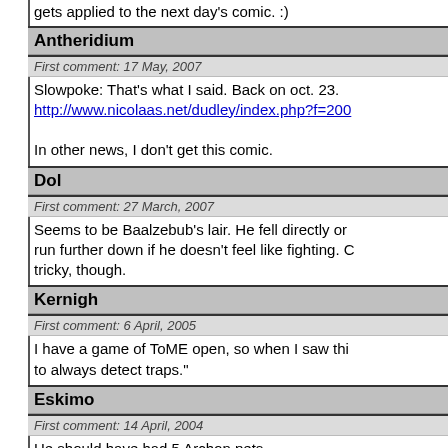gets applied to the next day's comic. :)
Antheridium
First comment: 17 May, 2007
Slowpoke: That's what I said. Back on oct. 23.
http://www.nicolaas.net/dudley/index.php?f=200

In other news, I don't get this comic.
Dol
First comment: 27 March, 2007
Seems to be Baalzebub's lair. He fell directly on run further down if he doesn't feel like fighting. C tricky, though.
Kernigh
First comment: 6 April, 2005
I have a game of ToME open, so when I saw thi to always detect traps."
Eskimo
First comment: 14 April, 2004
He should have had 5 Archon pets...
Grogno0r
First comment: 22 November, 2007
I don't get it
Statue of a Grognor